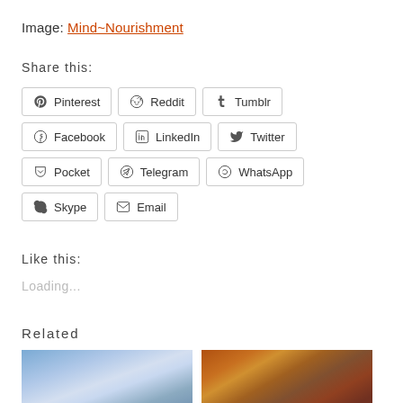Image: Mind~Nourishment
Share this:
Pinterest  Reddit  Tumblr  Facebook  LinkedIn  Twitter  Pocket  Telegram  WhatsApp  Skype  Email
Like this:
Loading...
Related
[Figure (photo): Two related article thumbnail images - sky with clouds and autumn nature scene]